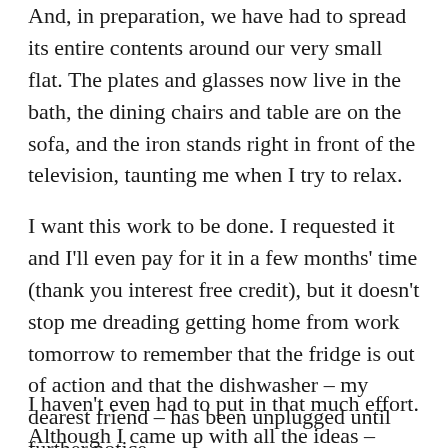And, in preparation, we have had to spread its entire contents around our very small flat. The plates and glasses now live in the bath, the dining chairs and table are on the sofa, and the iron stands right in front of the television, taunting me when I try to relax.
I want this work to be done. I requested it and I'll even pay for it in a few months' time (thank you interest free credit), but it doesn't stop me dreading getting home from work tomorrow to remember that the fridge is out of action and that the dishwasher – my dearest friend – has been unplugged until further notice.
I haven't even had to put in that much effort. Although I came up with all the ideas – wooden worktops, an easy-wash floor and a cupboard